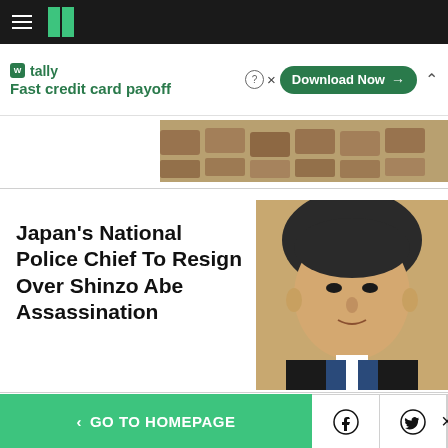HuffPost navigation bar with hamburger menu and logo
[Figure (screenshot): Tally advertisement banner: Fast credit card payoff, Download Now button]
[Figure (photo): Partial aerial photo of shipping containers or vehicles]
Japan's National Police Chief To Resign Over Shinzo Abe Assassination
[Figure (photo): Portrait photo of Shinzo Abe]
Teen Becomes Youngest
[Figure (photo): Partial photo with blue sky background]
< GO TO HOMEPAGE